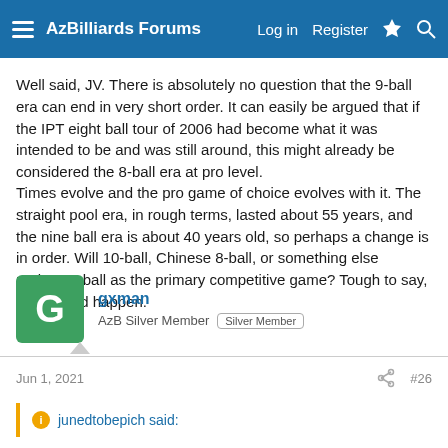AzBilliards Forums — Log in | Register
Well said, JV. There is absolutely no question that the 9-ball era can end in very short order. It can easily be argued that if the IPT eight ball tour of 2006 had become what it was intended to be and was still around, this might already be considered the 8-ball era at pro level.
Times evolve and the pro game of choice evolves with it. The straight pool era, in rough terms, lasted about 55 years, and the nine ball era is about 40 years old, so perhaps a change is in order. Will 10-ball, Chinese 8-ball, or something else replace 9-ball as the primary competitive game? Tough to say, but it could happen.
gxman
AzB Silver Member  Silver Member
Jun 1, 2021  #26
junedtobepich said: